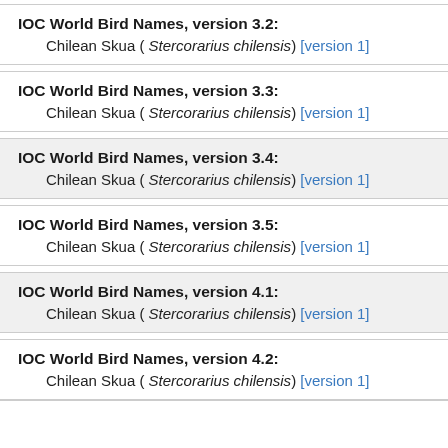IOC World Bird Names, version 3.2: Chilean Skua ( Stercorarius chilensis) [version 1]
IOC World Bird Names, version 3.3: Chilean Skua ( Stercorarius chilensis) [version 1]
IOC World Bird Names, version 3.4: Chilean Skua ( Stercorarius chilensis) [version 1]
IOC World Bird Names, version 3.5: Chilean Skua ( Stercorarius chilensis) [version 1]
IOC World Bird Names, version 4.1: Chilean Skua ( Stercorarius chilensis) [version 1]
IOC World Bird Names, version 4.2: Chilean Skua ( Stercorarius chilensis) [version 1]